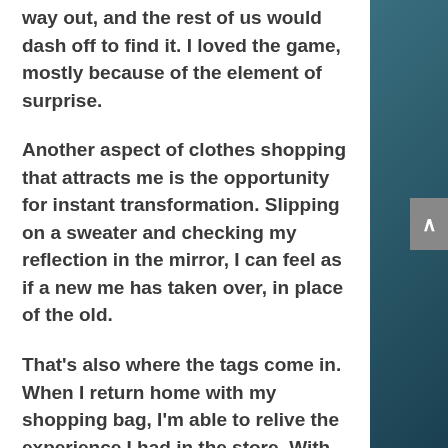way out, and the rest of us would dash off to find it. I loved the game, mostly because of the element of surprise.
Another aspect of clothes shopping that attracts me is the opportunity for instant transformation. Slipping on a sweater and checking my reflection in the mirror, I can feel as if a new me has taken over, in place of the old.
That's also where the tags come in. When I return home with my shopping bag, I'm able to relive the experience I had in the store. With tags still hanging from my wrist, the promise remains that this new outfit just might change my life.
Decades after putting outfits into plastic bags, to donate to Goodwill, I can still recall some of my favorites. Often, they're clothes I went a bit over my budget to own. There was a deep pink